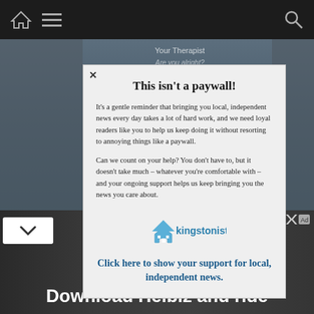Navigation bar with home icon, menu icon, and search icon
[Figure (screenshot): Background showing a dimmed video/image content area with text 'Your Therapist', 'Are you alright?', partial text 'I... ok', and 'kingstonist' watermark and townhouse-lephare.ca text visible through the modal overlay]
This isn't a paywall!
It's a gentle reminder that bringing you local, independent news every day takes a lot of hard work, and we need loyal readers like you to help us keep doing it without resorting to annoying things like a paywall.
Can we count on your help? You don't have to, but it doesn't take much – whatever you're comfortable with – and your ongoing support helps us keep bringing you the news you care about.
[Figure (logo): Kingstonist logo with house icon]
Click here to show your support for local, independent news.
[Figure (screenshot): Advertisement banner at the bottom: 'Download Helbiz and ride' with a bicycle handlebar image]